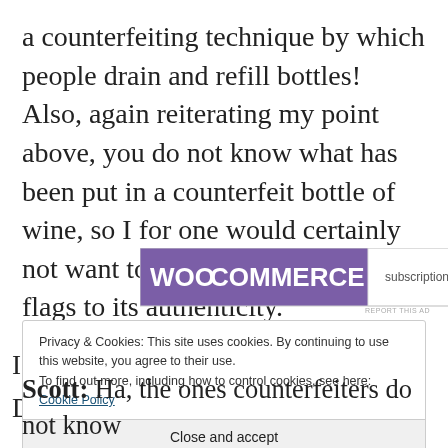a counterfeiting technique by which people drain and refill bottles! Also, again reiterating my point above, you do not know what has been put in a counterfeit bottle of wine, so I for one would certainly not want to taste it if there were red flags to its authenticity.
[Figure (other): WooCommerce advertisement banner with purple background showing WooCommerce logo and 'subscriptions online' text with teal circle element]
Privacy & Cookies: This site uses cookies. By continuing to use this website, you agree to their use.
To find out more, including how to control cookies, see here: Cookie Policy
Close and accept
Scott: Ha, the ones counterfeiters do not know